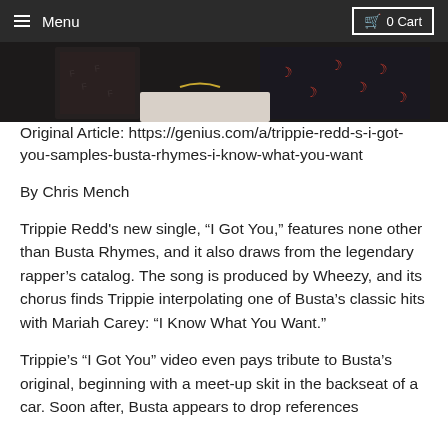Menu  0 Cart
[Figure (photo): Cropped photo showing two people, one wearing a black Fendi-print outfit and another wearing a black garment with red crescent moon patterns, seated or standing near a white surface.]
Original Article: https://genius.com/a/trippie-redd-s-i-got-you-samples-busta-rhymes-i-know-what-you-want
By Chris Mench
Trippie Redd's new single, “I Got You,” features none other than Busta Rhymes, and it also draws from the legendary rapper’s catalog. The song is produced by Wheezy, and its chorus finds Trippie interpolating one of Busta’s classic hits with Mariah Carey: “I Know What You Want.”
Trippie’s “I Got You” video even pays tribute to Busta’s original, beginning with a meet-up skit in the backseat of a car. Soon after, Busta appears to drop references